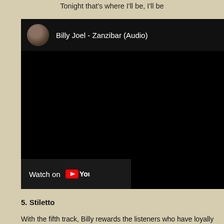Tonight that's where I'll be, I'll be
[Figure (screenshot): YouTube video embed showing 'Billy Joel - Zanzibar (Audio)' with a circular avatar thumbnail, a black video area, and a 'Watch on YouTube' bar at the bottom left.]
5. Stiletto
With the fifth track, Billy rewards the listeners who have loyally lis...